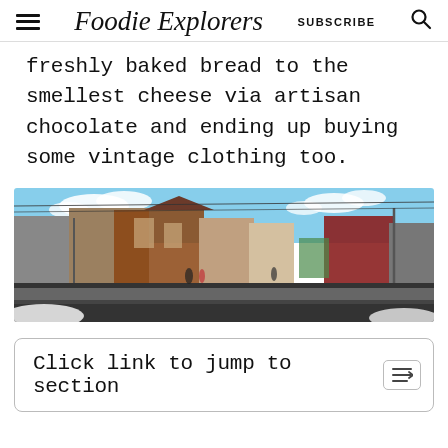Foodie Explorers  SUBSCRIBE
freshly baked bread to the smellest cheese via artisan chocolate and ending up buying some vintage clothing too.
[Figure (photo): Panoramic street view of an urban area with brick buildings, storefronts, snow on the ground, blue sky with clouds]
Click link to jump to section